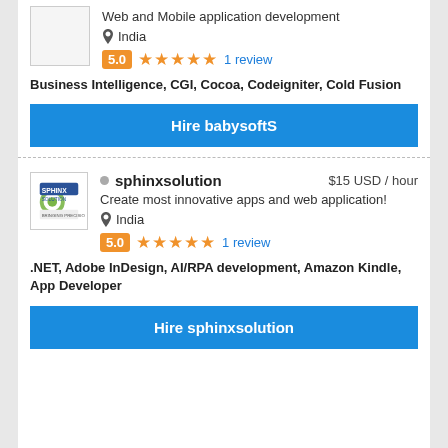Web and Mobile application development
India
5.0 ★★★★★ 1 review
Business Intelligence, CGI, Cocoa, Codeigniter, Cold Fusion
Hire babysoftS
sphinxsolution $15 USD / hour
Create most innovative apps and web application!
India
5.0 ★★★★★ 1 review
.NET, Adobe InDesign, AI/RPA development, Amazon Kindle, App Developer
Hire sphinxsolution